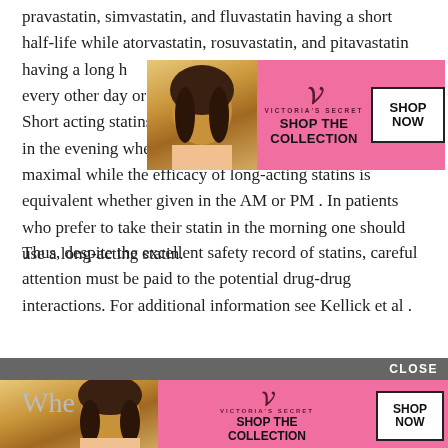pravastatin, simvastatin, and fluvastatin having a short half-life while atorvastatin, rosuvastatin, and pitavastatin having a long half-life. Because of a long-acting statin every other day or 2 times per week has been employed. Short acting statins are most effective when administered in the evening when HMG-CoA reductase activity is maximal while the efficacy of long-acting statins is equivalent whether given in the AM or PM . In patients who prefer to take their statin in the morning one should use a long-acting statin.
[Figure (other): Victoria's Secret advertisement banner with model photo, VS logo, 'SHOP THE COLLECTION' text, and 'SHOP NOW' button on pink background]
Thus, despite the excellent safety record of statins, careful attention must be paid to the potential drug-drug interactions. For additional information see Kellick et al .
[Figure (other): Victoria's Secret advertisement banner (second instance) with model photo, VS logo, 'SHOP THE COLLECTION' text, and 'SHOP NOW' button on pink background, with CLOSE button above]
Whe